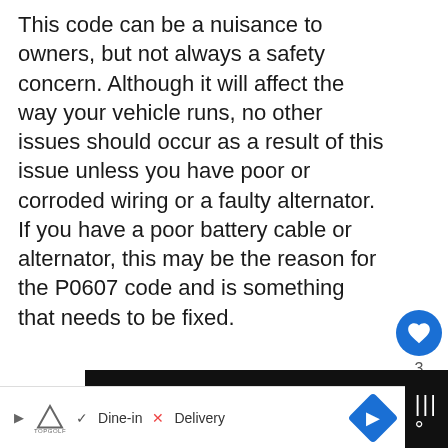This code can be a nuisance to owners, but not always a safety concern. Although it will affect the way your vehicle runs, no other issues should occur as a result of this issue unless you have poor or corroded wiring or a faulty alternator. If you have a poor battery cable or alternator, this may be the reason for the P0607 code and is something that needs to be fixed.
[Figure (infographic): Advertisement banner: black background with yellow bold italic text 'DON'T TEXT AND' followed by cyan text, a red car emoji, and NHTSA ad badge. Below it a 'What's Next' panel showing P0336 Code article thumbnail.]
[Figure (screenshot): Bottom browser bar showing TopGolf ad with Dine-in checkmark, Delivery X, navigation arrow icon, and music icon. Dark background on right side.]